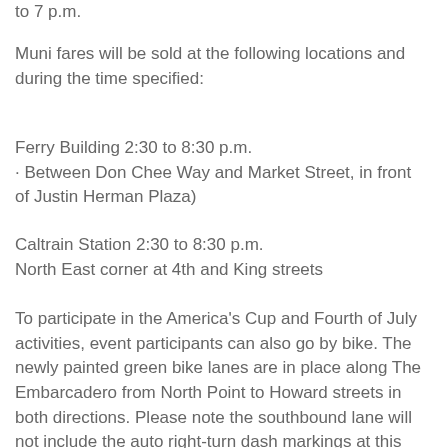to 7 p.m.
Muni fares will be sold at the following locations and during the time specified:
Ferry Building 2:30 to 8:30 p.m.
· Between Don Chee Way and Market Street, in front of Justin Herman Plaza)
Caltrain Station 2:30 to 8:30 p.m.
North East corner at 4th and King streets
To participate in the America's Cup and Fourth of July activities, event participants can also go by bike. The newly painted green bike lanes are in place along The Embarcadero from North Point to Howard streets in both directions. Please note the southbound lane will not include the auto right-turn dash markings at this time, but the SFMTA crews will be back in August to apply special reflective treatments in